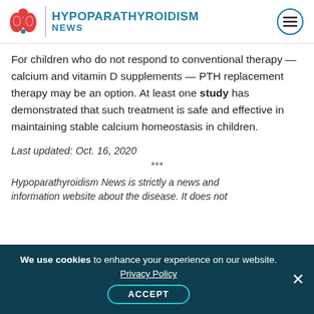HYPOPARATHYROIDISM NEWS
For children who do not respond to conventional therapy — calcium and vitamin D supplements — PTH replacement therapy may be an option. At least one study has demonstrated that such treatment is safe and effective in maintaining stable calcium homeostasis in children.
Last updated: Oct. 16, 2020
***
Hypoparathyroidism News is strictly a news and information website about the disease. It does not
We use cookies to enhance your experience on our website. Privacy Policy ACCEPT